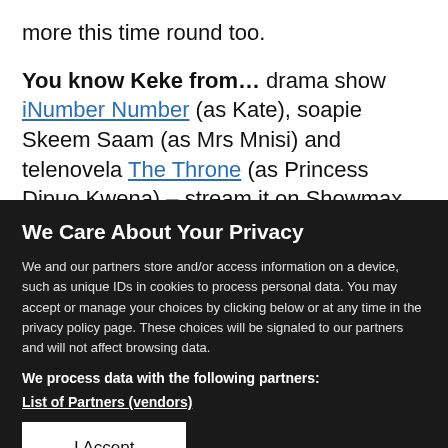more this time round too.
You know Keke from… drama show iNumber Number (as Kate), soapie Skeem Saam (as Mrs Mnisi) and telenovela The Throne (as Princess Dipuo Kwena) – stream it on Showmax now.
We Care About Your Privacy
We and our partners store and/or access information on a device, such as unique IDs in cookies to process personal data. You may accept or manage your choices by clicking below or at any time in the privacy policy page. These choices will be signaled to our partners and will not affect browsing data.
We process data with the following partners:
List of Partners (vendors)
I Accept